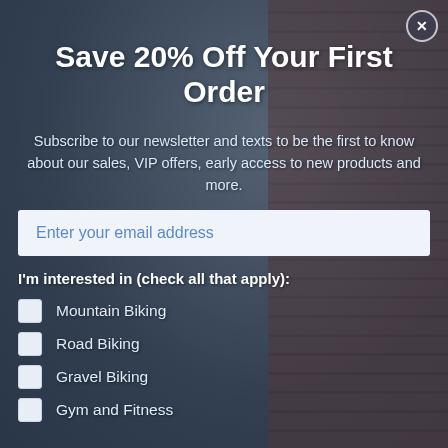Save 20% Off Your First Order
Subscribe to our newsletter and texts to be the first to know about our sales, VIP offers, early access to new products and more.
Enter your email address
I'm interested in (check all that apply):
Mountain Biking
Road Biking
Gravel Biking
Gym and Fitness